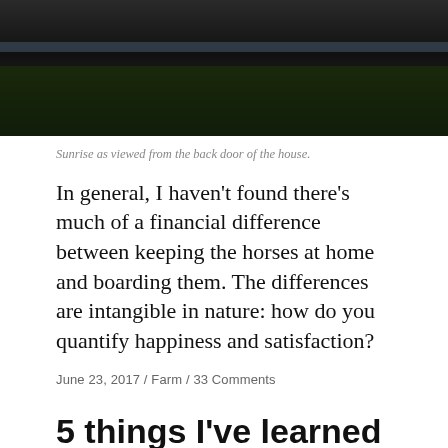[Figure (photo): Dark outdoor photo showing sunrise as viewed from the back door of a house, with a blue-toned horizon stripe and dark ground/grass in foreground]
Sunrise as viewed from the back door of the house.
In general, I haven’t found there’s much of a financial difference between keeping the horses at home and boarding them. The differences are intangible in nature: how do you quantify happiness and satisfaction?
June 23, 2017 / Farm / 33 Comments
5 things I’ve learned owning a small farm